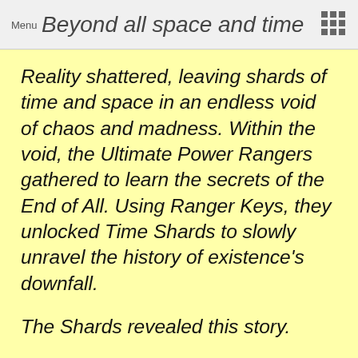Menu · Beyond all space and time
Reality shattered, leaving shards of time and space in an endless void of chaos and madness. Within the void, the Ultimate Power Rangers gathered to learn the secrets of the End of All. Using Ranger Keys, they unlocked Time Shards to slowly unravel the history of existence's downfall.
The Shards revealed this story.